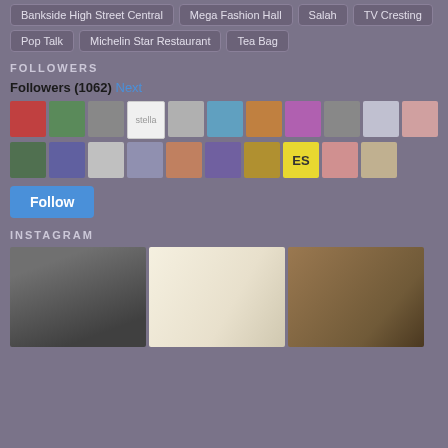Bankside High Street Central
Mega Fashion Hall
Salah
TV Cresting
Pop Talk
Michelin Star Restaurant
Tea Bag
FOLLOWERS
Followers (1062) Next
[Figure (photo): Grid of follower avatar photos (two rows of ~10 each)]
[Figure (screenshot): Follow button (blue)]
INSTAGRAM
[Figure (photo): Three Instagram food/lifestyle photos side by side]